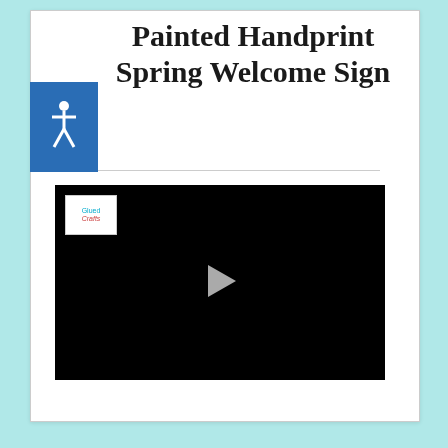Painted Handprint Spring Welcome Sign
[Figure (screenshot): Embedded video player with black background and play button in center, with 'Glued Crafts' logo watermark in top-left corner]